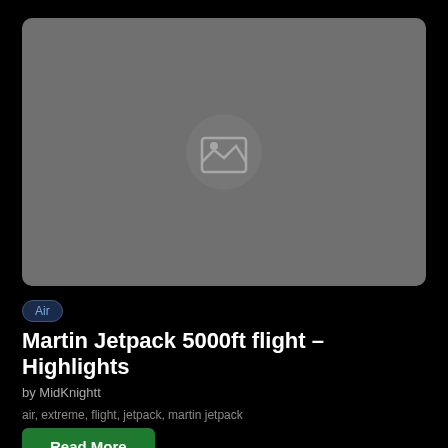[Figure (photo): Gray placeholder image box with a rounded rectangle and image icon in the center, indicating a missing or loading image thumbnail]
Air
Martin Jetpack 5000ft flight – Highlights
by MidKnightt
air, extreme, flight, jetpack, martin jetpack
Read More